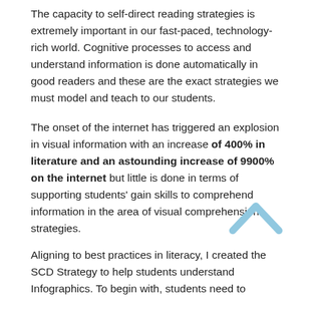The capacity to self-direct reading strategies is extremely important in our fast-paced, technology-rich world. Cognitive processes to access and understand information is done automatically in good readers and these are the exact strategies we must model and teach to our students.
The onset of the internet has triggered an explosion in visual information with an increase of 400% in literature and an astounding increase of 9900% on the internet but little is done in terms of supporting students' gain skills to comprehend information in the area of visual comprehension strategies.
Aligning to best practices in literacy, I created the SCD Strategy to help students understand Infographics. To begin with, students need to